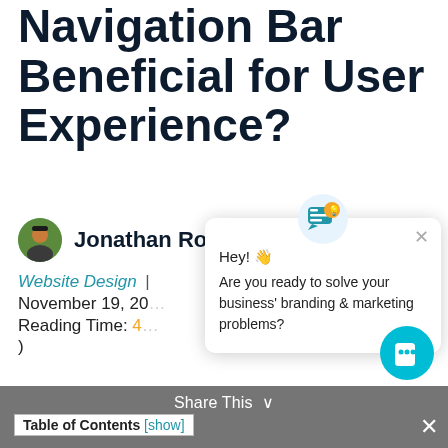Navigation Bar Beneficial for User Experience?
Jonathan Rodriguez
Website Design | November 19, 20... Reading Time: 4... )
[Figure (screenshot): Chat popup overlay with icon, close button, and message: Hey! Are you ready to solve your business' branding & marketing problems?]
[Figure (other): Teal circular chat launcher button at bottom right]
Share This  Table of Contents [show]